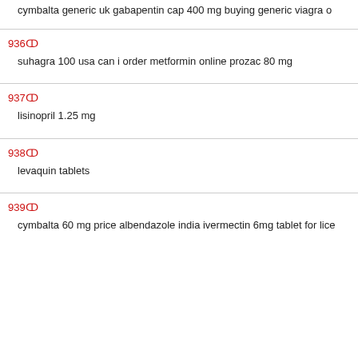cymbalta generic uk gabapentin cap 400 mg buying generic viagra o
936и
suhagra 100 usa can i order metformin online prozac 80 mg
937и
lisinopril 1.25 mg
938и
levaquin tablets
939и
cymbalta 60 mg price albendazole india ivermectin 6mg tablet for lice